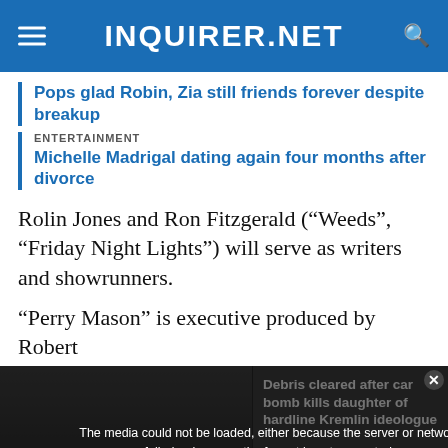INQUIRER.NET
Pops glad Robin, Zia still friends forever despite breakup
ENTERTAINMENT
Michelle Madrigal dating again four months after divorce
Rolin Jones and Ron Fitzgerald (“Weeds”, “Friday Night Lights”) will serve as writers and showrunners.
“Perry Mason” is executive produced by Robert
[Figure (screenshot): Embedded video player showing 'Debris cleared after car bomb kills daughter of hardline Kremlin ideologue' with an error message overlay: 'The media could not be loaded, either because the server or network failed or because the format is not supported.' An orange chat button and an X close button are visible.]